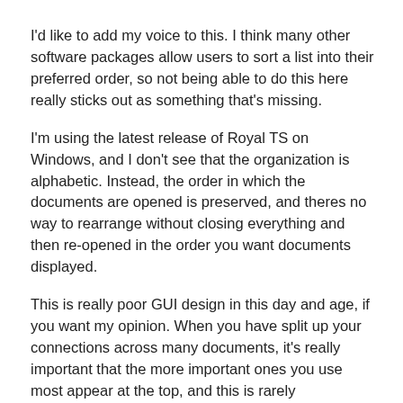I'd like to add my voice to this. I think many other software packages allow users to sort a list into their preferred order, so not being able to do this here really sticks out as something that's missing.
I'm using the latest release of Royal TS on Windows, and I don't see that the organization is alphabetic. Instead, the order in which the documents are opened is preserved, and theres no way to rearrange without closing everything and then re-opened in the order you want documents displayed.
This is really poor GUI design in this day and age, if you want my opinion. When you have split up your connections across many documents, it's really important that the more important ones you use most appear at the top, and this is rarely alphabetical order.
I read through your points on why this is harder than it seems, and I really don't find them very valid. You're overthinking the solution, let's not make the perfect the enemy of the good here. The following design should be VERY simple to implement, would solve my use-case, and I think would be fine with just about everyone. Let's not get caught up in edge cases, but I'll note them.